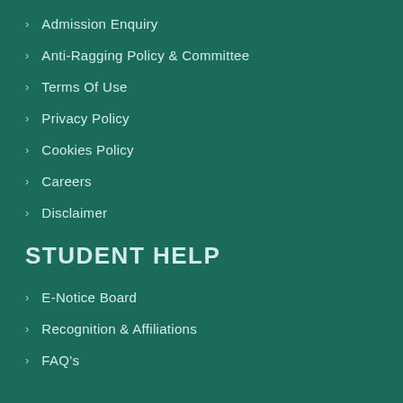Admission Enquiry
Anti-Ragging Policy & Committee
Terms Of Use
Privacy Policy
Cookies Policy
Careers
Disclaimer
STUDENT HELP
E-Notice Board
Recognition & Affiliations
FAQ's